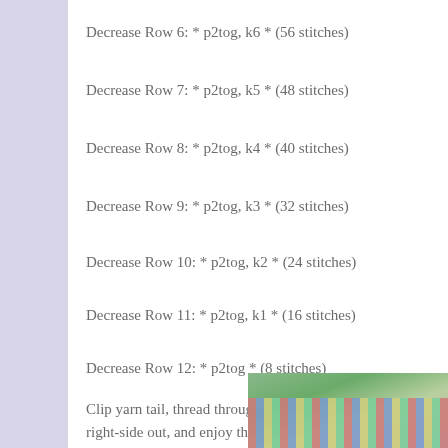Decrease Row 6: * p2tog, k6 * (56 stitches)
Decrease Row 7: * p2tog, k5 * (48 stitches)
Decrease Row 8: * p2tog, k4 * (40 stitches)
Decrease Row 9: * p2tog, k3 * (32 stitches)
Decrease Row 10: * p2tog, k2 * (24 stitches)
Decrease Row 11: * p2tog, k1 * (16 stitches)
Decrease Row 12: * p2tog * (8 stitches)
Clip yarn tail, thread through remaining 8 stitches, and pu right-side out, and enjoy the magic you've just made with
[Figure (photo): Close-up photo of a colorful knitted item with blue, red, and white yarn colors visible at the bottom right of the page.]